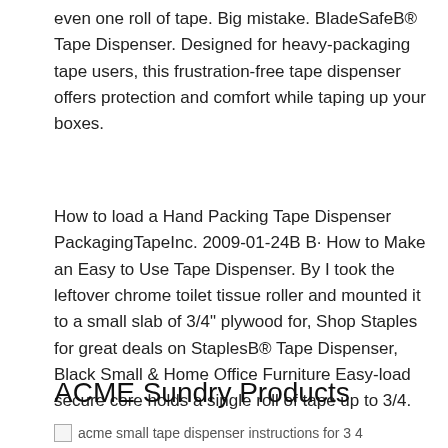even one roll of tape. Big mistake. BladeSafeB® Tape Dispenser. Designed for heavy-packaging tape users, this frustration-free tape dispenser offers protection and comfort while taping up your boxes.
How to load a Hand Packing Tape Dispenser PackagingTapeInc. 2009-01-24B B· How to Make an Easy to Use Tape Dispenser. By I took the leftover chrome toilet tissue roller and mounted it to a small slab of 3/4" plywood for, Shop Staples for great deals on StaplesB® Tape Dispenser, Black Small & Home Office Furniture Easy-load secure core holds a single roll of tape up to 3/4.
ACME Sundry Products
[Figure (photo): Broken image placeholder with alt text: acme small tape dispenser instructions for 3 4]